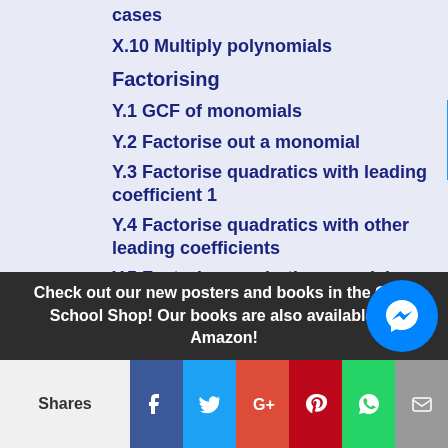cases
X.10 Multiply polynomials
Factorising
Y.1 GCF of monomials
Y.2 Factorise out a monomial
Y.3 Factorise quadratics with leading coefficient 1
Y.4 Factorise quadratics with other leading coefficients
Y.5 Factorise quadratics: special cases
Y.6 Factorise by grouping
Y.7 Factorise polynomials
Check out our new posters and books in the Geek School Shop! Our books are also available on Amazon!
Shares